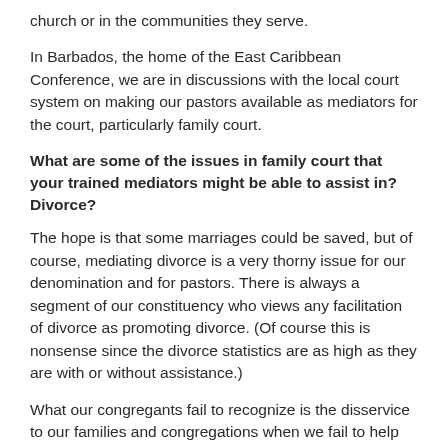church or in the communities they serve.
In Barbados, the home of the East Caribbean Conference, we are in discussions with the local court system on making our pastors available as mediators for the court, particularly family court.
What are some of the issues in family court that your trained mediators might be able to assist in? Divorce?
The hope is that some marriages could be saved, but of course, mediating divorce is a very thorny issue for our denomination and for pastors. There is always a segment of our constituency who views any facilitation of divorce as promoting divorce. (Of course this is nonsense since the divorce statistics are as high as they are with or without assistance.)
What our congregants fail to recognize is the disservice to our families and congregations when we fail to help spouses who are going to part, to part in a way that keeps the family in the community of faith, the children accepted and participating in our schools and participating in our denominational children's ministries, such as Pathfinders. All too often, we lose both parents, the children, the extended family, and even the circle of friends. This